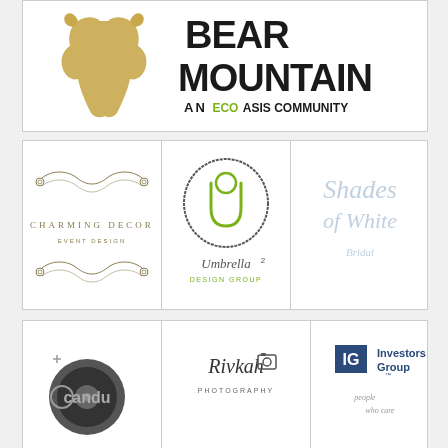[Figure (logo): Bear Mountain - An EcoOasis Community logo with golden bear silhouette and bold text]
[Figure (logo): Charming Decor Event Design logo with ornate scroll decorations]
[Figure (logo): Umbrella² Design Group logo with circular hand-drawn emblem]
[Figure (logo): Shades of White Bridal logo in light blue script text]
[Figure (logo): Candu logo with vinyl record graphic]
[Figure (logo): Rivkah Photography logo in italic script with camera icon]
[Figure (logo): Investors Group logo with IG monogram and people tagline]